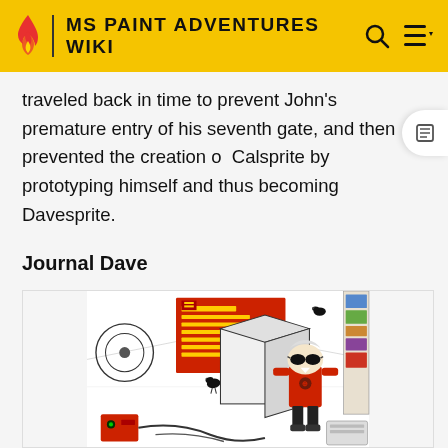MS PAINT ADVENTURES WIKI
traveled back in time to prevent John's premature entry of his seventh gate, and then prevented the creation of Calsprite by prototyping himself and thus becoming Davesprite.
Journal Dave
[Figure (illustration): Comic-style illustration of Dave Strider character wearing sunglasses and a red shirt, standing in a cluttered room with crows, various equipment, and a red Spanish flag poster on the wall.]